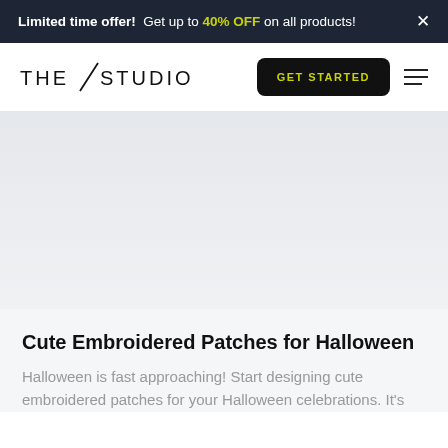Limited time offer! Get up to 40% OFF on all products! ×
[Figure (logo): THE/STUDIO logo with a diagonal slash between THE and STUDIO]
GET STARTED
[Figure (illustration): Large light gray hero image area, empty/placeholder background]
Cute Embroidered Patches for Halloween
Halloween is fast approaching! Start designing cute embroidered patches for your Halloween celebrations. It's